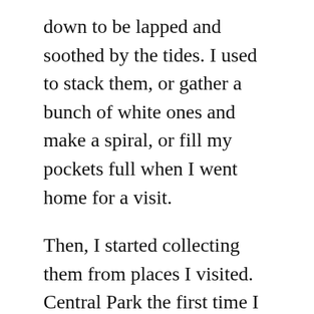down to be lapped and soothed by the tides. I used to stack them, or gather a bunch of white ones and make a spiral, or fill my pockets full when I went home for a visit.
Then, I started collecting them from places I visited. Central Park the first time I visited New York. the south coast of England where my dad's girlfriend lives. Paris, Edinborough, Chicago, Ocean Shores in Oregon, New Orleans, the Jersey Shore, Japan, Arches National Monument in Utah.